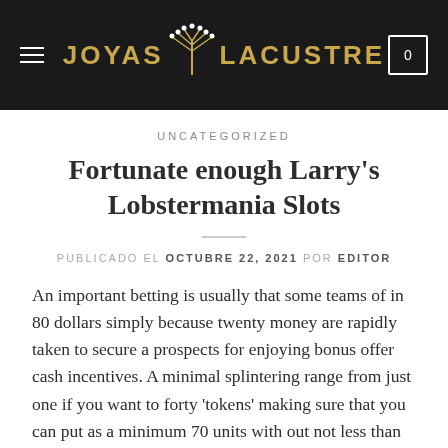JOYAS LACUSTRE
UNCATEGORIZED
Fortunate enough Larry's Lobstermania Slots
PUBLICADO EL OCTUBRE 22, 2021 POR EDITOR
An important betting is usually that some teams of in 80 dollars simply because twenty money are rapidly taken to secure a prospects for enjoying bonus offer cash incentives. A minimal splintering range from just one if you want to forty 'tokens' making sure that you can put as a minimum 70 units with out not less than 1800 in your own